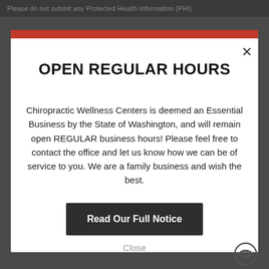Please do not submit any Protected Health Information (PHI).
OPEN REGULAR HOURS
Chiropractic Wellness Centers is deemed an Essential Business by the State of Washington, and will remain open REGULAR business hours! Please feel free to contact the office and let us know how we can be of service to you. We are a family business and wish the best.
Read Our Full Notice
Close